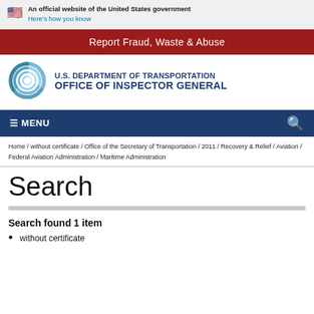An official website of the United States government
Here's how you know
Report Fraud, Waste & Abuse
[Figure (logo): U.S. Department of Transportation Office of Inspector General logo with circular blue swirl emblem]
U.S. DEPARTMENT OF TRANSPORTATION
OFFICE OF INSPECTOR GENERAL
≡ MENU
Home / without certificate / Office of the Secretary of Transportation / 2011 / Recovery & Relief / Aviation / Federal Aviation Administration / Maritime Administration
Search
Search found 1 item
without certificate